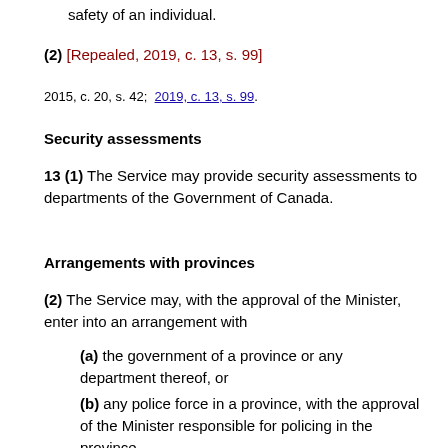safety of an individual.
(2) [Repealed, 2019, c. 13, s. 99]
2015, c. 20, s. 42;  2019, c. 13, s. 99.
Security assessments
13 (1) The Service may provide security assessments to departments of the Government of Canada.
Arrangements with provinces
(2) The Service may, with the approval of the Minister, enter into an arrangement with
(a) the government of a province or any department thereof, or
(b) any police force in a province, with the approval of the Minister responsible for policing in the province,